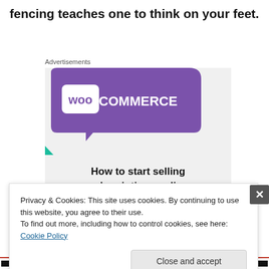fencing teaches one to think on your feet.
Advertisements
[Figure (illustration): WooCommerce advertisement banner showing the WooCommerce logo on a purple background with teal and blue geometric shapes, and text 'How to start selling subscriptions online']
Privacy & Cookies: This site uses cookies. By continuing to use this website, you agree to their use.
To find out more, including how to control cookies, see here: Cookie Policy
Close and accept